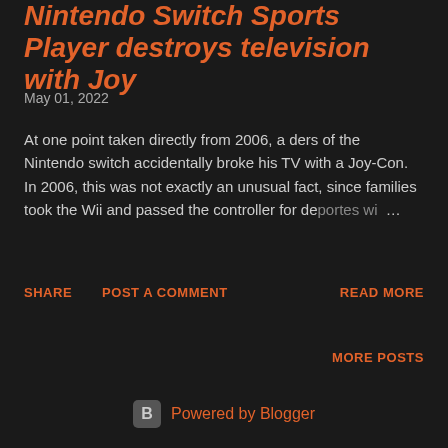Nintendo Switch Sports Player destroys television with Joy
May 01, 2022
At one point taken directly from 2006, a ders of the Nintendo switch accidentally broke his TV with a Joy-Con. In 2006, this was not exactly an unusual fact, since families took the Wii and passed the controller for deportes wi ...
SHARE   POST A COMMENT   READ MORE
MORE POSTS
Powered by Blogger